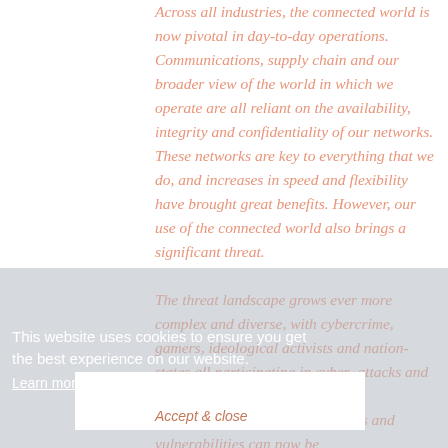Across all industries, the connected world is now pivotal in day-to-day operations. Communications, supply chain and our broader view of the world in which we operate are all reliant on the availability, integrity and confidentiality of our networks. These networks are key to everything that we do, and increases in speed and flexibility have brought great benefits. However, our use of the connected world also brings a significant threat.

The threat landscape grows ever more complex and diverse, with cybercrime, gamers, ideological activists and nation-states all participating in cyber–attacks and campaigns of varying levels of sophistication. New attack vectors and vulnerabilities can now be
This website uses cookies to ensure you get the best experience on our website.
Learn more.
Accept & close